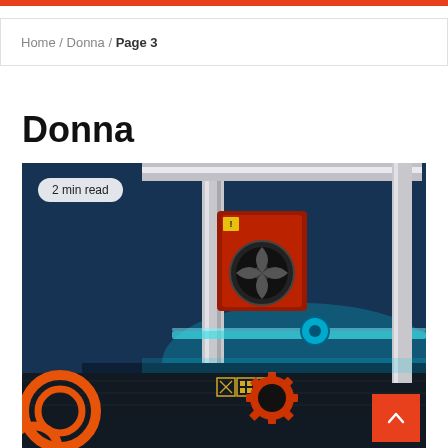Home / Donna / Page 3
Donna
2 min read
[Figure (photo): Close-up photo of a 3D printer in action with red/orange mechanical parts, a build plate with warning symbols, and cyan lighting. An orange coiled filament tube and a gear-shaped print are visible.]